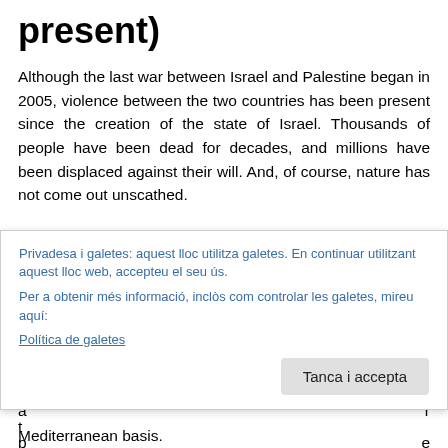present)
Although the last war between Israel and Palestine began in 2005, violence between the two countries has been present since the creation of the state of Israel. Thousands of people have been dead for decades, and millions have been displaced against their will. And, of course, nature has not come out unscathed.
One of the most famous cases occurred in 2006. The Israeli army bombarded two oil tanks near a power station in Jieh, Lebanon (where a terrorist group called Hezbollah was [partially obscured text] Mediterranean basis.
Privadesa i galetes: aquest lloc utilitza galetes. En continuar utilitzant aquest lloc web, accepteu el seu ús.
Per a obtenir més informació, inclòs com controlar les galetes, mireu aquí:
Política de galetes
Tanca i accepta
Mediterranean basis.